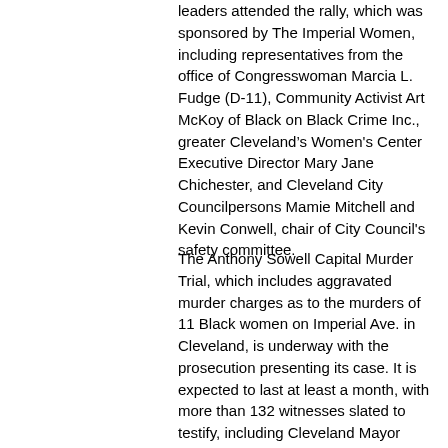leaders attended the rally, which was sponsored by The Imperial Women, including representatives from the office of Congresswoman Marcia L. Fudge (D-11), Community Activist Art McKoy of Black on Black Crime Inc., greater Cleveland's Women's Center Executive Director Mary Jane Chichester, and Cleveland City Councilpersons Mamie Mitchell and Kevin Conwell, chair of City Council's safety committee.
The Anthony Sowell Capital Murder Trial, which includes aggravated murder charges as to the murders of 11 Black women on Imperial Ave. in Cleveland, is underway with the prosecution presenting its case. It is expected to last at least a month, with more than 132 witnesses slated to testify, including Cleveland Mayor Frank Jackson, and the mayor's niece, Lori Frazier, who took the stand and testified last week against Sowell. She told the 12-member predominantly White jury that she saw the blood gushing from Sowell's head, and the bruises on him, but for one moment did not believe that he had killed anyone, more less a repertoire of Black women, even when he said to her that "you do not have to worry about them